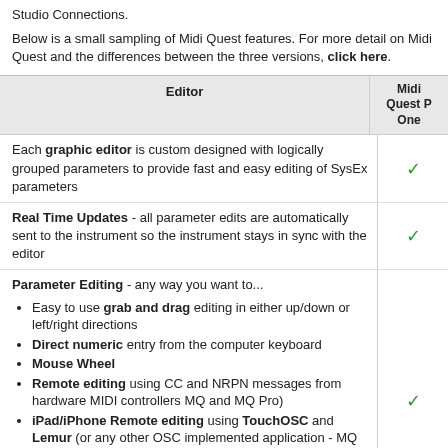Studio Connections.
Below is a small sampling of Midi Quest features. For more detail on Midi Quest and the differences between the three versions, click here.
| Editor | Midi Quest Pro One |
| --- | --- |
| Each graphic editor is custom designed with logically grouped parameters to provide fast and easy editing of SysEx parameters | ✓ |
| Real Time Updates - all parameter edits are automatically sent to the instrument so the instrument stays in sync with the editor | ✓ |
| Parameter Editing - any way you want to... [list of sub-items] | ✓ |
| Randomize, Restore, or Copy & Paste any combination of |  |